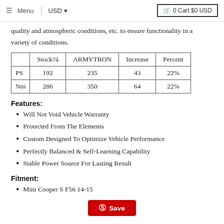Menu  USD  0 Cart $0 USD
quality and atmospheric conditions, etc. to ensure functionality in a variety of conditions.
|  | Stock?á | ARMYTRON | Increase | Percent |
| --- | --- | --- | --- | --- |
| PS | 192 | 235 | 43 | 22% |
| Nm | 286 | 350 | 64 | 22% |
Features:
Will Not Void Vehicle Warranty
Protected From The Elements
Custom Designed To Optimize Vehicle Performance
Perfectly Balanced & Self-Learning Capability
Stable Power Source For Lasting Result
Fitment:
Mini Cooper S F56 14-15